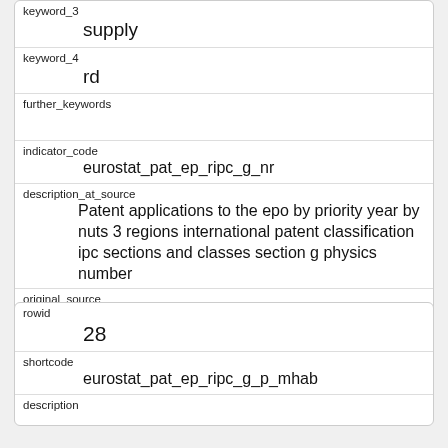| keyword_3 | supply |
| keyword_4 | rd |
| further_keywords |  |
| indicator_code | eurostat_pat_ep_ripc_g_nr |
| description_at_source | Patent applications to the epo by priority year by nuts 3 regions international patent classification ipc sections and classes section g physics number |
| original_source | Eurostat |
| rowid | 28 |
| shortcode | eurostat_pat_ep_ripc_g_p_mhab |
| description |  |